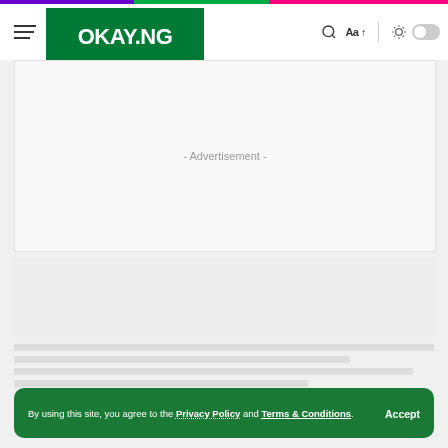[Figure (logo): OKAY.NG website logo in white text on green background]
- Advertisement -
By using this site, you agree to the Privacy Policy and Terms & Conditions.